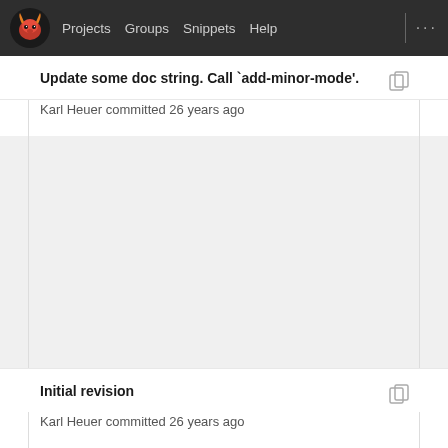Projects  Groups  Snippets  Help  ...
Update some doc string. Call `add-minor-mode'.
Karl Heuer committed 26 years ago
Initial revision
Karl Heuer committed 26 years ago